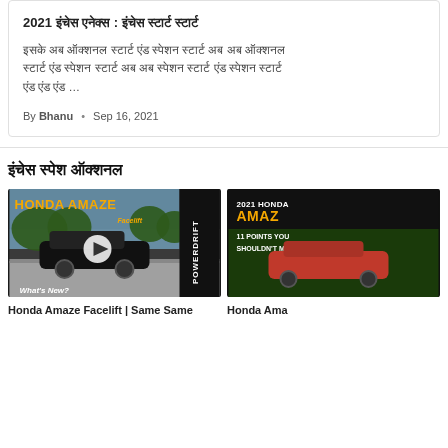2021 इंचेस एनेक्स : इंचेस स्टार्ट स्टार्ट
इसके अब ऑक्शनल स्टार्ट एंड स्पेशन स्टार्ट अब अब ऑक्शनल स्टार्ट एंड स्पेशन स्टार्ट अब अब स्पेशन स्टार्ट एंड स्पेशन स्टार्ट ...
By Bhanu • Sep 16, 2021
इंचेस स्पेश ऑक्शनल
[Figure (screenshot): Honda Amaze Facelift thumbnail video with POWERDRIFT branding and play button, text 'What's New?']
[Figure (screenshot): 2021 Honda Amaze - 11 Points You Shouldn't Miss thumbnail, partially visible]
Honda Amaze Facelift | Same Same
Honda Ama...